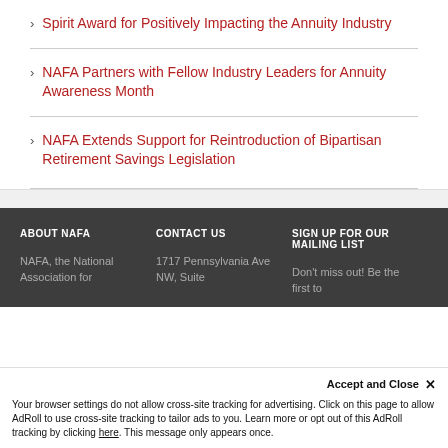Spirit Award for Positively Impacting the Annuity Industry
NAFA Partners with Fellow Industry Leaders for Annuity Awareness Month
NAFA Extends Support for Reintroduction of Bipartisan Retirement Savings Legislation
ABOUT NAFA | CONTACT US | SIGN UP FOR OUR MAILING LIST
NAFA, the National Association for ... | 1717 Pennsylvania Ave NW, Suite ... | Don't miss out! Be the first to ...
Your browser settings do not allow cross-site tracking for advertising. Click on this page to allow AdRoll to use cross-site tracking to tailor ads to you. Learn more or opt out of this AdRoll tracking by clicking here. This message only appears once.